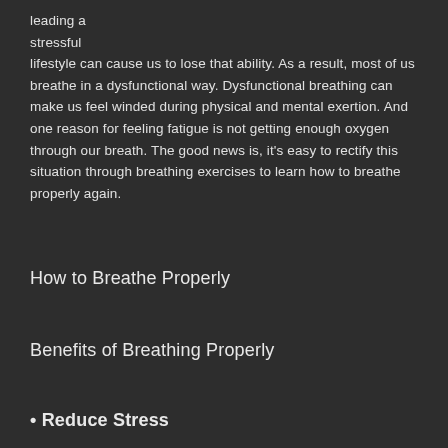leading a stressful lifestyle can cause us to lose that ability. As a result, most of us breathe in a dysfunctional way. Dysfunctional breathing can make us feel winded during physical and mental exertion. And one reason for feeling fatigue is not getting enough oxygen through our breath. The good news is, it's easy to rectify this situation through breathing exercises to learn how to breathe properly again.
How to Breathe Properly
Benefits of Breathing Properly
• Reduce Stress